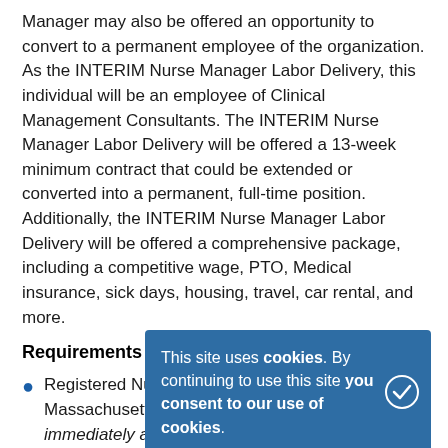Manager may also be offered an opportunity to convert to a permanent employee of the organization. As the INTERIM Nurse Manager Labor Delivery, this individual will be an employee of Clinical Management Consultants. The INTERIM Nurse Manager Labor Delivery will be offered a 13-week minimum contract that could be extended or converted into a permanent, full-time position. Additionally, the INTERIM Nurse Manager Labor Delivery will be offered a comprehensive package, including a competitive wage, PTO, Medical insurance, sick days, housing, travel, car rental, and more.
Requirements
Registered Nurse License for the State of Massachusetts (temporary licenses are immediately available and required prior to starting)
Clinical Background working in an acute care facility, idea...
Ability to start within the next 15-30 days
Proof of COVID-19 vaccine